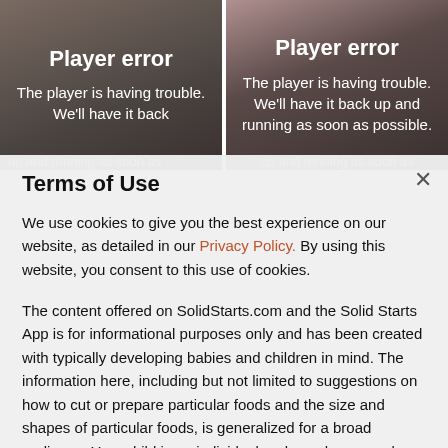[Figure (screenshot): Two video player panels side by side showing 'Player error' messages. Left panel: 'Player error / The player is having trouble. We'll have it back up and running as soon as'. Right panel: 'Player error / The player is having trouble. We'll have it back up and running as soon as possible.']
Terms of Use
We use cookies to give you the best experience on our website, as detailed in our Privacy Policy. By using this website, you consent to this use of cookies.
The content offered on SolidStarts.com and the Solid Starts App is for informational purposes only and has been created with typically developing babies and children in mind. The information here, including but not limited to suggestions on how to cut or prepare particular foods and the size and shapes of particular foods, is generalized for a broad audience. Your child is an individual and may have needs or considerations beyond generally accepted practices. If your child has underlying medical or developmental differences, we strongly recommend and encourage you to discuss